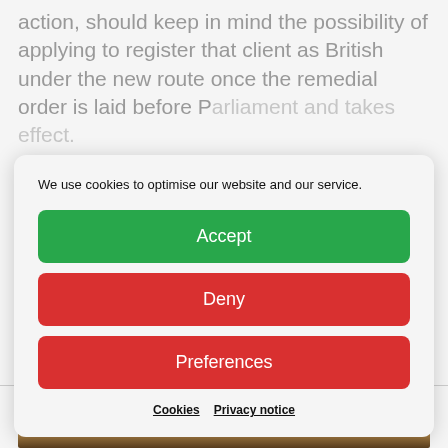action, should keep in mind the possibility of applying to register that client as British under the new route once the remedial order is laid before Parliament and takes effect.
We use cookies to optimise our website and our service.
Accept
Deny
Preferences
Cookies   Privacy notice
Blog
[Figure (photo): Dark-toned image at the bottom of the page showing what appears to be golden/bronze objects, partially visible.]